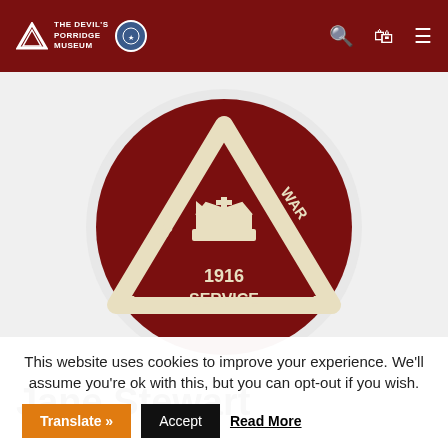The Devil's Porridge Museum
[Figure (logo): WWI On War Service 1916 badge/medal — circular dark red background with a cream-colored triangle motif, royal crown in center, text 'ON WAR SERVICE 1916' around the triangle, 'SERVICE' at the bottom. Displayed on a light grey circular background.]
Jane Stewart
This website uses cookies to improve your experience. We'll assume you're ok with this, but you can opt-out if you wish.
Translate » | Accept | Read More